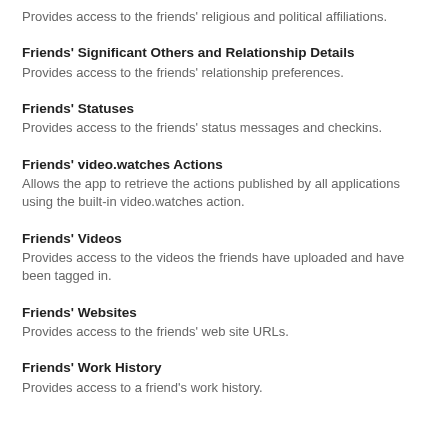Provides access to the friends' religious and political affiliations.
Friends' Significant Others and Relationship Details
Provides access to the friends' relationship preferences.
Friends' Statuses
Provides access to the friends' status messages and checkins.
Friends' video.watches Actions
Allows the app to retrieve the actions published by all applications using the built-in video.watches action.
Friends' Videos
Provides access to the videos the friends have uploaded and have been tagged in.
Friends' Websites
Provides access to the friends' web site URLs.
Friends' Work History
Provides access to a friend's work history.